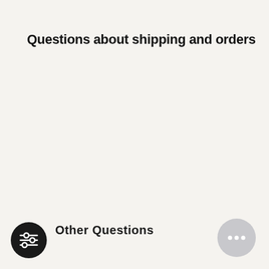Questions about shipping and orders
Other Questions
[Figure (illustration): Black circular icon with sliders/equalizer symbol (settings/filter icon)]
[Figure (illustration): Light gray circular chat bubble icon with three dots (chat/messenger widget)]